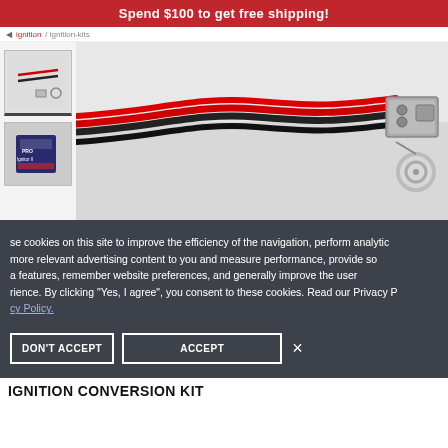Spend $100 to get free shipping!
[Figure (screenshot): E-commerce product page showing ignition conversion kit with thumbnail images on the left and main product image showing red and black wires with a connector]
se cookies on this site to improve the efficiency of the navigation, perform analytic more relevant advertising content to you and measure performance, provide so a features, remember website preferences, and generally improve the user rience. By clicking "Yes, I agree", you consent to these cookies. Read our Privacy P cy Policy.
DON'T ACCEPT   ACCEPT   ×
IGNITION CONVERSION KIT